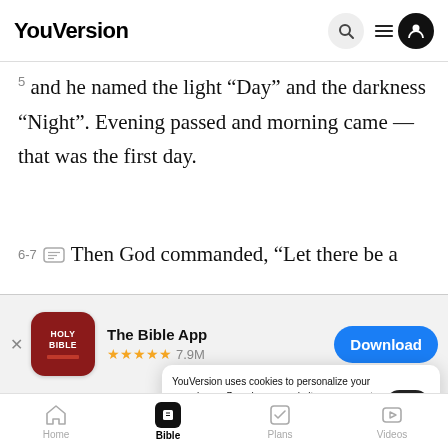YouVersion
5 and he named the light “Day” and the darkness “Night”. Evening passed and morning came — that was the first day.
6-7 Then God commanded, “Let there be a
[Figure (screenshot): App download banner for The Bible App with Holy Bible icon, 5 gold stars, 7.9M reviews, and a blue Download button]
a dome and it separated the water under it fr
the wat
YouVersion uses cookies to personalize your experience. By using our website, you accept our use of cookies as described in our Privacy Policy.
Evening passed and morning came — that was the
Home  Bible  Plans  Videos